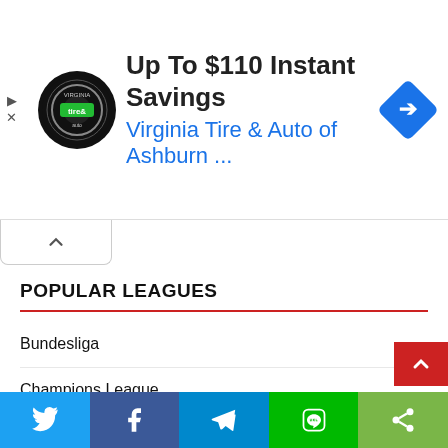[Figure (other): Advertisement banner for Virginia Tire & Auto of Ashburn with logo, headline 'Up To $110 Instant Savings', subtext 'Virginia Tire & Auto of Ashburn ...', and a blue directional arrow diamond icon]
POPULAR LEAGUES
Bundesliga
Champions League
England Premier League
Eredivisie
Europa League
NBA Predictions
[Figure (other): Social sharing bar with Twitter, Facebook, Telegram, Line, and generic share buttons]